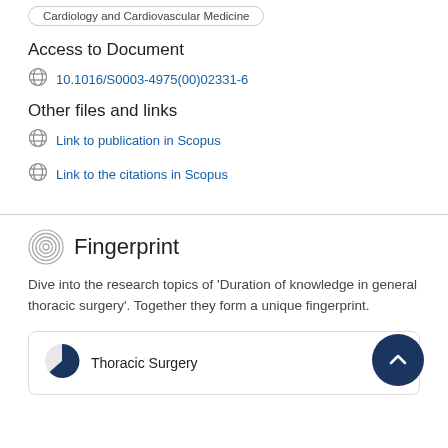Cardiology and Cardiovascular Medicine
Access to Document
10.1016/S0003-4975(00)02331-6
Other files and links
Link to publication in Scopus
Link to the citations in Scopus
Fingerprint
Dive into the research topics of 'Duration of knowledge in general thoracic surgery'. Together they form a unique fingerprint.
Thoracic Surgery